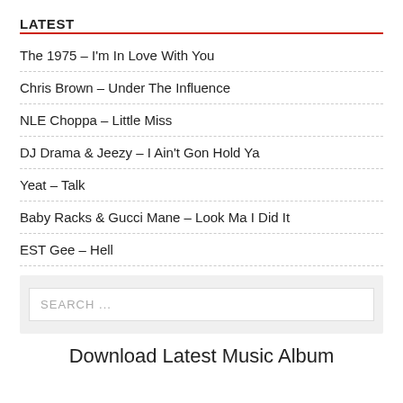LATEST
The 1975 – I'm In Love With You
Chris Brown – Under The Influence
NLE Choppa – Little Miss
DJ Drama & Jeezy – I Ain't Gon Hold Ya
Yeat – Talk
Baby Racks & Gucci Mane – Look Ma I Did It
EST Gee – Hell
SEARCH ...
Download Latest Music Album